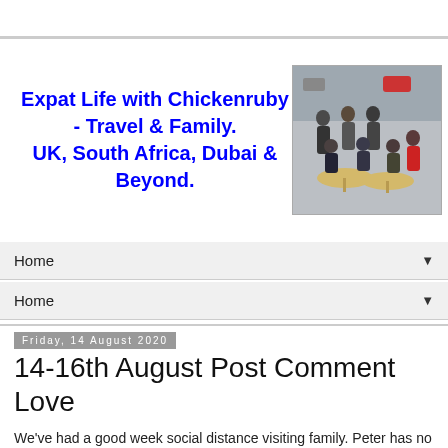Expat Life with Chickenruby - Travel & Family. UK, South Africa, Dubai & Beyond.
[Figure (photo): Group of people sitting around outdoor tables in a car park area]
Home ▼
Home ▼
Friday, 14 August 2020
14-16th August Post Comment Love
We've had a good week social distance visiting family. Peter has no idea when he'll next be in the UK.
I'm taking Peter back to the airport today, then off to Bristol